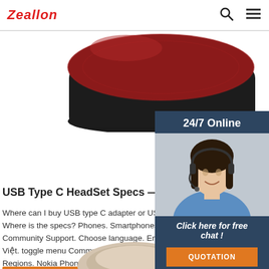Zeallon
[Figure (photo): Top portion of a red and black wireless Bluetooth speaker product photo, cropped at top]
[Figure (photo): Customer support widget showing a woman with headset, 24/7 Online label, Click here for free chat!, and QUOTATION button]
USB Type C HeadSet Specs — Nokia phones
Where can I buy USB type C adapter or USB type Where is the specs? Phones. Smartphones Featur Community Support. Choose language. English In Việt. toggle menu Community. Phones. General. T Regions. Nokia Phones. Android phones Classic p
[Figure (photo): Bottom portion of a product image (appears to be a headset or device), cropped at bottom of page]